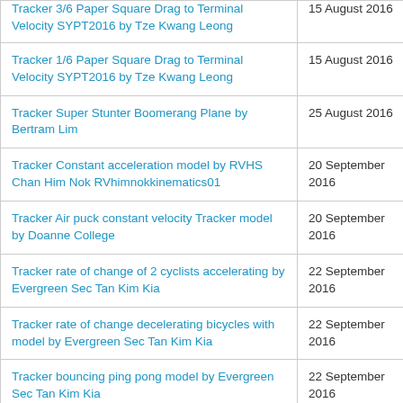| Title | Date |
| --- | --- |
| Tracker 3/6 Paper Square Drag to Terminal Velocity SYPT2016 by Tze Kwang Leong | 15 August 2016 |
| Tracker 1/6 Paper Square Drag to Terminal Velocity SYPT2016 by Tze Kwang Leong | 15 August 2016 |
| Tracker Super Stunter Boomerang Plane by Bertram Lim | 25 August 2016 |
| Tracker Constant acceleration model by RVHS Chan Him Nok RVhimnokkinematics01 | 20 September 2016 |
| Tracker Air puck constant velocity Tracker model by Doanne College | 20 September 2016 |
| Tracker rate of change of 2 cyclists accelerating by Evergreen Sec Tan Kim Kia | 22 September 2016 |
| Tracker rate of change decelerating bicycles with model by Evergreen Sec Tan Kim Kia | 22 September 2016 |
| Tracker bouncing ping pong model by Evergreen Sec Tan Kim Kia | 22 September 2016 |